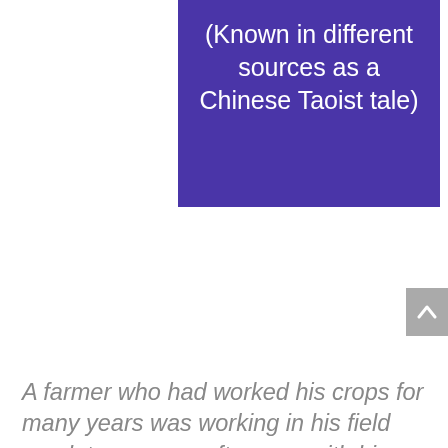(Known in different sources as a Chinese Taoist tale)
A farmer who had worked his crops for many years was working in his field one late summer afternoon with his old sick horse. The compassionate farmer decided to let the horse loose to live out the rest of its life free in the mountains. Upon hearing the news, his neighbors